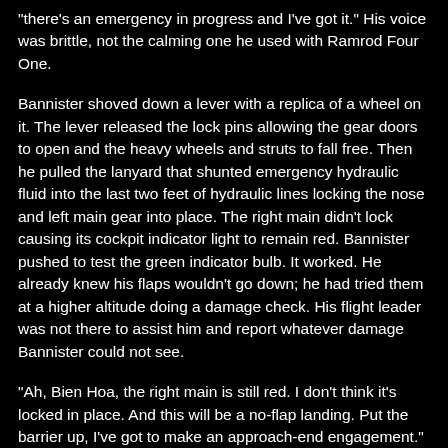"there's an emergency in progress and I've got it." His voice was brittle, not the calming one he used with Ramrod Four One.
Bannister shoved down a lever with a replica of a wheel on it. The lever released the lock pins allowing the gear doors to open and the heavy wheels and struts to fall free. Then he pulled the lanyard that shunted emergency hydraulic fluid into the last two feet of hydraulic lines locking the nose and left main gear into place. The right main didn't lock causing its cockpit indicator light to remain red. Bannister pushed to test the green indicator bulb. It worked. He already knew his flaps wouldn't go down; he had tried them at a higher altitude doing a damage check. His flight leader was not there to assist him and report whatever damage Bannister could not see.
"Ah, Bien Hoa, the right main is still red. I don't think it's locked in place. And this will be a no-flap landing. Put the barrier up, I've got to make an approach-end engagement." Without flaps he had to bring his plane in fifteen knots faster. Bannister didn't intend to eject unless the engine quit.